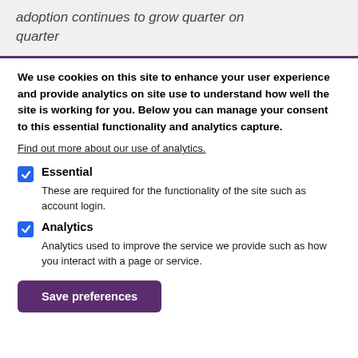adoption continues to grow quarter on quarter
We use cookies on this site to enhance your user experience and provide analytics on site use to understand how well the site is working for you. Below you can manage your consent to this essential functionality and analytics capture.
Find out more about our use of analytics.
Essential — These are required for the functionality of the site such as account login.
Analytics — Analytics used to improve the service we provide such as how you interact with a page or service.
Save preferences